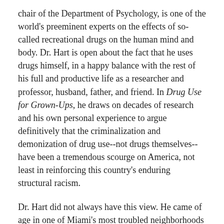chair of the Department of Psychology, is one of the world's preeminent experts on the effects of so-called recreational drugs on the human mind and body. Dr. Hart is open about the fact that he uses drugs himself, in a happy balance with the rest of his full and productive life as a researcher and professor, husband, father, and friend. In Drug Use for Grown-Ups, he draws on decades of research and his own personal experience to argue definitively that the criminalization and demonization of drug use--not drugs themselves--have been a tremendous scourge on America, not least in reinforcing this country's enduring structural racism.
Dr. Hart did not always have this view. He came of age in one of Miami's most troubled neighborhoods at a time when many ills were being laid at the door of crack cocaine. His initial work as a researcher was aimed at proving that drug use caused bad outcomes. But one problem kept cropping up: the evidence from his research did not support his hypothesis. From inside the massively well-funded research arm of the American war on drugs, he saw how the facts did not support the ideology. The